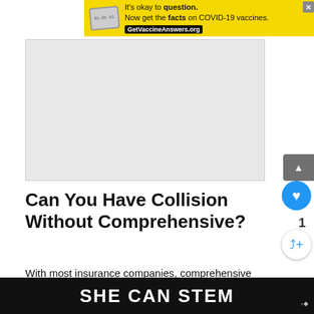[Figure (screenshot): Yellow advertisement banner: 'It's okay to question. Now get the facts on COVID-19 vaccines. GetVaccineAnswers.org' with a stamp graphic and close button.]
[Figure (other): Gray rectangle placeholder for an advertisement or image.]
Can You Have Collision Without Comprehensive?
With most insurance companies, comprehensive and collision insurance options are a package deal. But while you might have to pay for both, you can
[Figure (screenshot): Bottom dark banner reading 'SHE CAN STEM' in bold white uppercase text.]